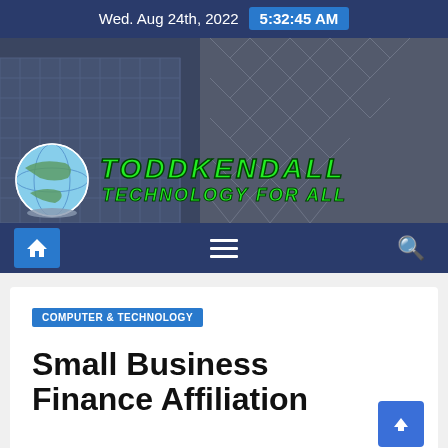Wed. Aug 24th, 2022  5:32:45 AM
[Figure (logo): ToddKendall Technology For All website banner with globe icon and green italic bold text on a dark city building background]
[Figure (infographic): Navigation bar with home icon button, hamburger menu, and search icon on dark blue background]
COMPUTER & TECHNOLOGY
Small Business Finance Affiliation